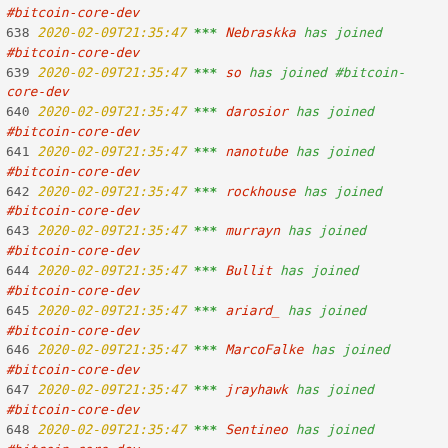#bitcoin-core-dev
638 2020-02-09T21:35:47 *** Nebraskka has joined #bitcoin-core-dev
639 2020-02-09T21:35:47 *** so has joined #bitcoin-core-dev
640 2020-02-09T21:35:47 *** darosior has joined #bitcoin-core-dev
641 2020-02-09T21:35:47 *** nanotube has joined #bitcoin-core-dev
642 2020-02-09T21:35:47 *** rockhouse has joined #bitcoin-core-dev
643 2020-02-09T21:35:47 *** murrayn has joined #bitcoin-core-dev
644 2020-02-09T21:35:47 *** Bullit has joined #bitcoin-core-dev
645 2020-02-09T21:35:47 *** ariard_ has joined #bitcoin-core-dev
646 2020-02-09T21:35:47 *** MarcoFalke has joined #bitcoin-core-dev
647 2020-02-09T21:35:47 *** jrayhawk has joined #bitcoin-core-dev
648 2020-02-09T21:35:47 *** Sentineo has joined #bitcoin-core-dev
649 2020-02-09T21:35:47 *** Zachu has joined #bitcoin-core-dev
650 2020-02-09T21:35:47 *** cryptapus has joined #bitcoin-core-dev
651 2020-02-09T21:35:47 *** ctrlbreak has joined